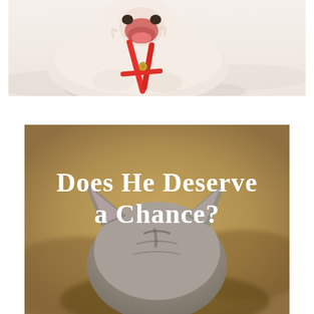[Figure (photo): A white dog lying on white bedding, chewing or playing with a red leash/harness]
[Figure (photo): A cat or small animal viewed from above/behind, with pointed ears, on a blurred background, with white bold serif text overlay reading 'Does He Deserve a Chance?']